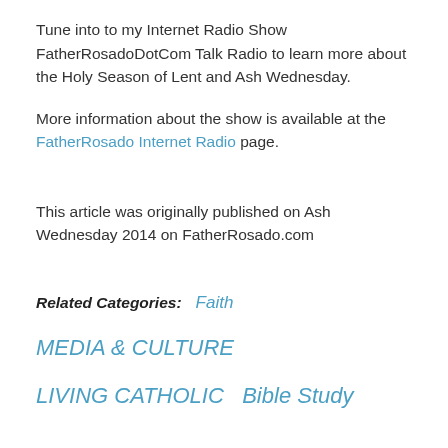Tune into to my Internet Radio Show FatherRosadoDotCom Talk Radio to learn more about the Holy Season of Lent and Ash Wednesday.
More information about the show is available at the FatherRosado Internet Radio page.
This article was originally published on Ash Wednesday 2014 on FatherRosado.com
Related Categories:   Faith
MEDIA & CULTURE
LIVING CATHOLIC   Bible Study